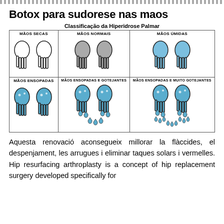Botox para sudorese nas maos
Classificação da Hiperidrose Palmar
[Figure (infographic): A 2x3 grid showing classification of palmar hyperhidrosis with hand icons: MÃOS SECAS (dry, white hands), MÃOS NORMAIS (normal, grey hands), MÃOS ÚMIDAS (wet, light blue hands), MÃOS ENSOPADAS (soaked, blue hands with drops), MÃOS ENSOPADAS E GOTEJANTES (soaked and dripping, blue hands with falling drops), MÃOS ENSOPADAS E MUITO GOTEJANTES (soaked and very dripping, blue hands with many falling drops)]
Aquesta renovació aconsegueix millorar la flàccides, el despenjament, les arrugues i eliminar taques solars i vermelles. Hip resurfacing arthroplasty is a concept of hip replacement surgery developed specifically for